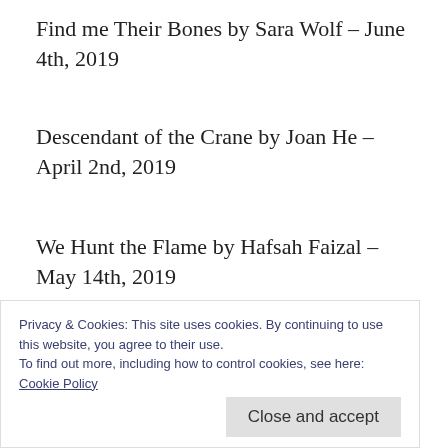Find me Their Bones by Sara Wolf – June 4th, 2019
Descendant of the Crane by Joan He – April 2nd, 2019
We Hunt the Flame by Hafsah Faizal – May 14th, 2019
Sorcery of Thorns by Margaret Rogerson – June 4th, 2019
Privacy & Cookies: This site uses cookies. By continuing to use this website, you agree to their use.
To find out more, including how to control cookies, see here: Cookie Policy
Blood Heir by Amelie Wen Zhao – June 4th,